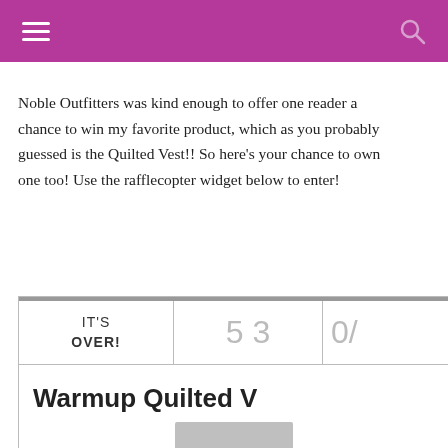[navigation bar with hamburger menu and search icon]
Noble Outfitters was kind enough to offer one reader a chance to win my favorite product, which as you probably guessed is the Quilted Vest!! So here's your chance to own one too! Use the rafflecopter widget below to enter!
[Figure (screenshot): Rafflecopter giveaway widget showing IT'S OVER! with numbers 53 and 0, and title Warmup Quilted Vest with a photo below]